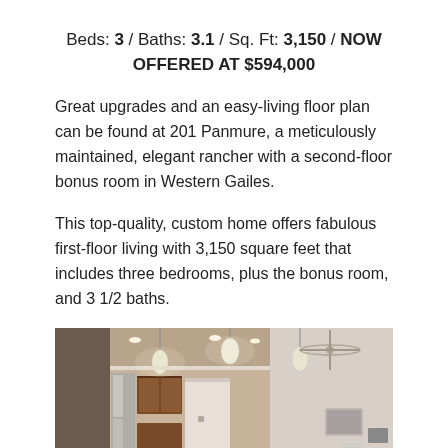Beds: 3 / Baths: 3.1 / Sq. Ft: 3,150 / NOW OFFERED AT $594,000
Great upgrades and an easy-living floor plan can be found at 201 Panmure, a meticulously maintained, elegant rancher with a second-floor bonus room in Western Gailes.
This top-quality, custom home offers fabulous first-floor living with 3,150 square feet that includes three bedrooms, plus the bonus room, and 3 1/2 baths.
[Figure (photo): Interior photo of a kitchen/living area showing dark wood cabinets, pendant lights, recessed ceiling lights, white walls, and a glimpse of a ceiling fan in adjacent room.]